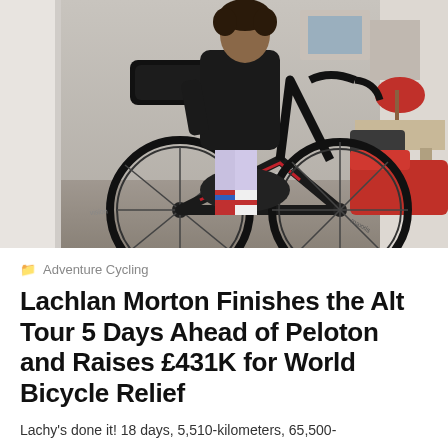[Figure (photo): A cyclist (Lachlan Morton) carrying or maneuvering a Cannondale road bike loaded with bikepacking bags through a doorway inside an apartment. The bike has a large frame bag and saddle bag. The rider is wearing a dark cycling jacket. Indoor setting with furniture and artwork visible in the background.]
Adventure Cycling
Lachlan Morton Finishes the Alt Tour 5 Days Ahead of Peloton and Raises £431K for World Bicycle Relief
Lachy's done it! 18 days, 5,510-kilometers, 65,500-